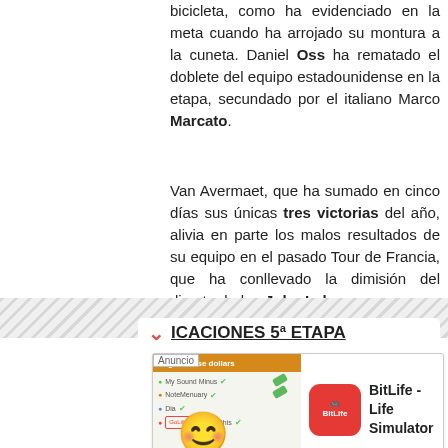bicicleta, como ha evidenciado en la meta cuando ha arrojado su montura a la cuneta. Daniel Oss ha rematado el doblete del equipo estadounidense en la etapa, secundado por el italiano Marco Marcato.
Van Avermaet, que ha sumado en cinco días sus únicas tres victorias del año, alivia en parte los malos resultados de su equipo en el pasado Tour de Francia, que ha conllevado la dimisión del director belga John Lelangue.
Juan Manuel Garate (Belkin), único español participante, ha concluido en el puesto 79º de la general final.
[Figure (screenshot): Advertisement banner for BitLife - Life Simulator app with emoji mascot and install button]
ICACIONES 5ª ETAPA